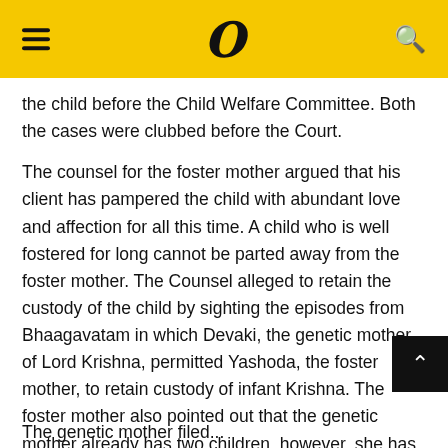W
the child before the Child Welfare Committee. Both the cases were clubbed before the Court.
The counsel for the foster mother argued that his client has pampered the child with abundant love and affection for all this time. A child who is well fostered for long cannot be parted away from the foster mother. The Counsel alleged to retain the custody of the child by sighting the episodes from Bhaagavatam in which Devaki, the genetic mother of Lord Krishna, permitted Yashoda, the foster mother, to retain custody of infant Krishna. The foster mother also pointed out that the genetic mother already has two children, however, she has none.
The genetic mother filed...